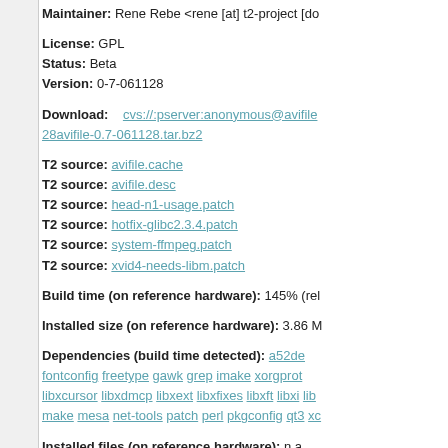Maintainer: Rene Rebe <rene [at] t2-project [do...
License: GPL
Status: Beta
Version: 0-7-061128
Download: cvs://:pserver:anonymous@avifile... 28avifile-0.7-061128.tar.bz2
T2 source: avifile.cache
T2 source: avifile.desc
T2 source: head-n1-usage.patch
T2 source: hotfix-glibc2.3.4.patch
T2 source: system-ffmpeg.patch
T2 source: xvid4-needs-libm.patch
Build time (on reference hardware): 145% (re...
Installed size (on reference hardware): 3.86 M...
Dependencies (build time detected): a52de... fontconfig freetype gawk grep imake xorgprot... libxcursor libxdmcp libxext libxfixes libxft libxi lib... make mesa net-tools patch perl pkgconfig qt3 xc...
Installed files (on reference hardware): n.a.